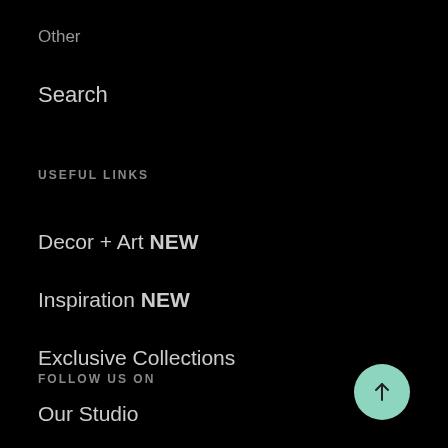Other
Search
USEFUL LINKS
Decor + Art NEW
Inspiration NEW
Exclusive Collections
Our Studio
FOLLOW US ON
[Figure (other): Mint green circular scroll-to-top button with upward arrow, positioned bottom right]